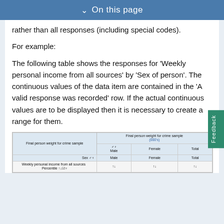On this page
rather than all responses (including special codes).
For example:
The following table shows the responses for 'Weekly personal income from all sources' by 'Sex of person'. The continuous values of the data item are contained in the 'A valid response was recorded' row. If the actual continuous values are to be displayed then it is necessary to create a range for them.
[Figure (table-as-image): Table showing Weekly personal income from all sources by Sex of person, with Final person weight for crime sample columns for Male, Female, Total]